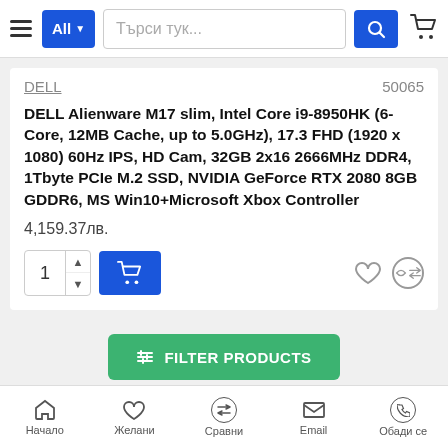All  Търси тук...
DELL  50065
DELL Alienware M17 slim, Intel Core i9-8950HK (6-Core, 12MB Cache, up to 5.0GHz), 17.3 FHD (1920 x 1080) 60Hz IPS, HD Cam, 32GB 2x16 2666MHz DDR4, 1Tbyte PCIe M.2 SSD, NVIDIA GeForce RTX 2080 8GB GDDR6, MS Win10+Microsoft Xbox Controller
4,159.37лв.
Начало  Желани  Сравни  Email  Обади се